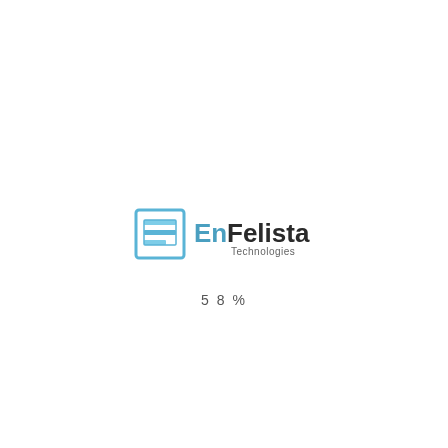[Figure (logo): EnFelista Technologies logo: a square icon on the left with stacked horizontal bars in light blue and a square outline, followed by the text 'EnFelista' in blue/dark gradient and 'Technologies' below in gray.]
5 8 %